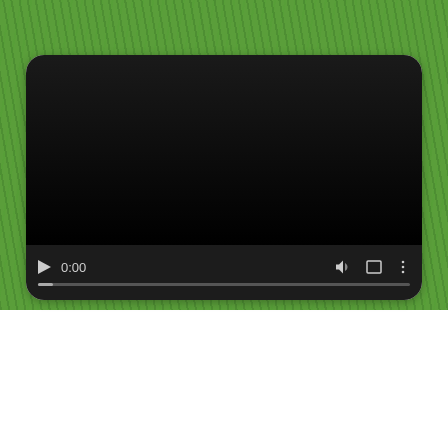[Figure (screenshot): Green grass-textured background section with an embedded video player. The video player shows a black screen with controls: play button, time display '0:00', volume icon, fullscreen icon, and a more options icon. A progress bar is visible at the bottom of the player.]
[Figure (screenshot): Teal/cyan background section with a 'Pet Grooming Service Area' banner text in semi-transparent white rounded rectangle, a grey back-to-top button with upward chevron, and a partial map view showing Colma, South San Francisco area with route markers.]